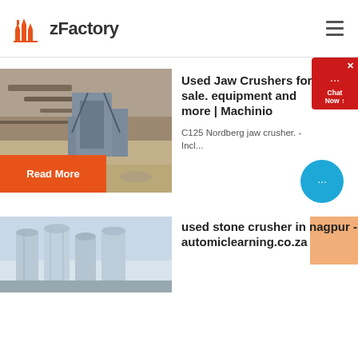zFactory
[Figure (screenshot): zFactory website screenshot showing a page with article cards about used jaw crushers and used stone crushers, with a chat widget and navigation hamburger menu]
Used Jaw Crushers for sale. equipment and more | Machinio
C125 Nordberg jaw crusher. - Incl...
Read More
used stone crusher in nagpur - automiclearning.co.za